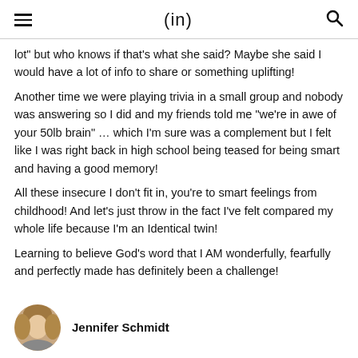(in)
lot” but who knows if that’s what she said? Maybe she said I would have a lot of info to share or something uplifting!
Another time we were playing trivia in a small group and nobody was answering so I did and my friends told me “we’re in awe of your 50lb brain” … which I’m sure was a complement but I felt like I was right back in high school being teased for being smart and having a good memory!
All these insecure I don’t fit in, you’re to smart feelings from childhood! And let’s just throw in the fact I’ve felt compared my whole life because I’m an Identical twin!
Learning to believe God’s word that I AM wonderfully, fearfully and perfectly made has definitely been a challenge!
Jennifer Schmidt